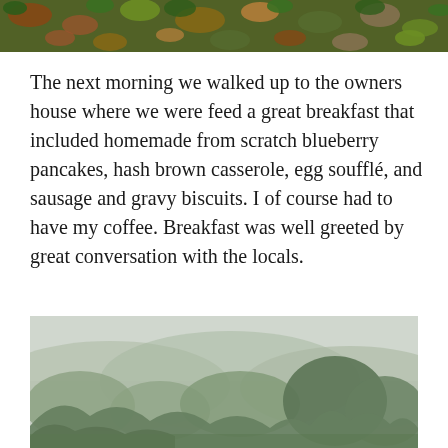[Figure (photo): Top strip of a nature/forest scene showing autumn leaves and green foliage on the ground]
The next morning we walked up to the owners house where we were feed a great breakfast that included homemade from scratch blueberry pancakes, hash brown casserole, egg soufflé, and sausage and gravy biscuits. I of course had to have my coffee. Breakfast was well greeted by great conversation with the locals.
[Figure (photo): A misty landscape with trees and forested hills in the background, foggy overcast sky]